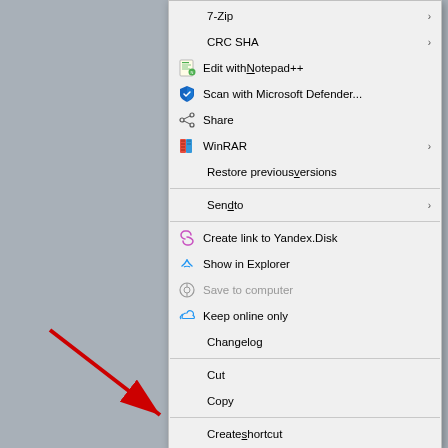[Figure (screenshot): Windows right-click context menu showing file options including 7-Zip, CRC SHA, Edit with Notepad++, Scan with Microsoft Defender, Share, WinRAR, Restore previous versions, Send to, Create link to Yandex.Disk, Show in Explorer, Save to computer (greyed out), Keep online only, Changelog, Cut, Copy, Create shortcut, Delete, Rename, and Properties (highlighted in blue). A red arrow points to the Properties item at the bottom.]